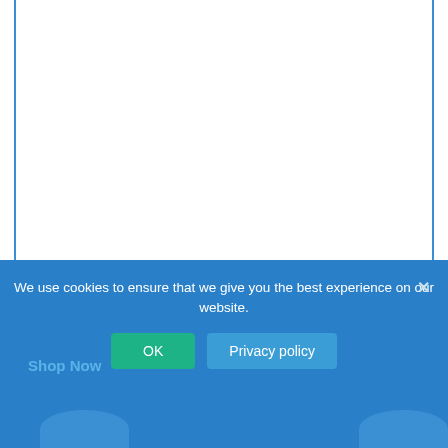[Figure (screenshot): White content area with blue side borders representing a webpage background]
We use cookies to ensure that we give you the best experience on our website.
Shop Now
OK
Privacy policy